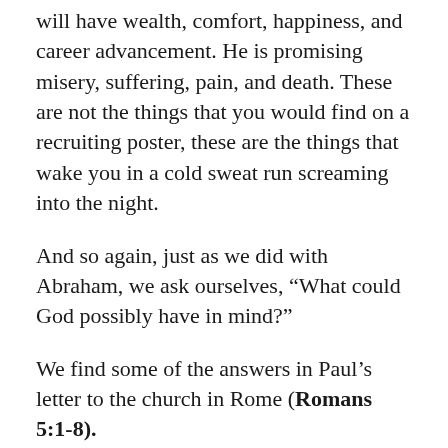will have wealth, comfort, happiness, and career advancement. He is promising misery, suffering, pain, and death. These are not the things that you would find on a recruiting poster, these are the things that wake you in a cold sweat run screaming into the night.
And so again, just as we did with Abraham, we ask ourselves, “What could God possibly have in mind?”
We find some of the answers in Paul’s letter to the church in Rome (Romans 5:1-8).
5:1 Therefore, since we have been justified through faith, we have peace with God through our Lord Jesus Christ, 2 through whom we have gained access